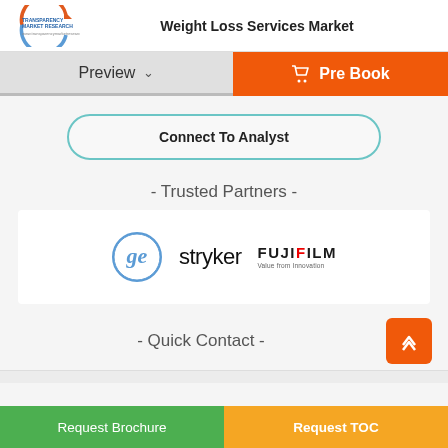Weight Loss Services Market
Preview
Pre Book
Connect To Analyst
- Trusted Partners -
[Figure (logo): GE, Stryker, and FUJIFILM logos displayed as trusted partners]
- Quick Contact -
Request Brochure | Request TOC